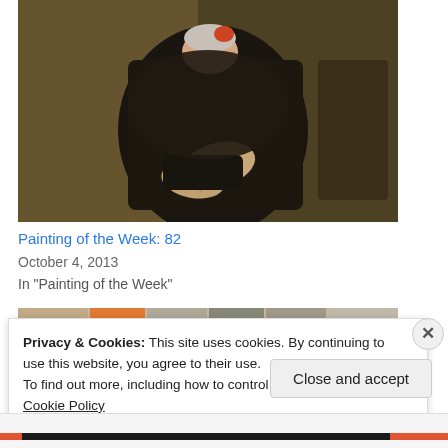[Figure (photo): A painting showing a person dressed in dark clothing with hands clasped, seated, with a dark background.]
Painting of the Week: 82
October 4, 2013
In "Painting of the Week"
[Figure (screenshot): Thumbnail strip of related article images]
Privacy & Cookies: This site uses cookies. By continuing to use this website, you agree to their use.
To find out more, including how to control cookies, see here: Cookie Policy
Close and accept